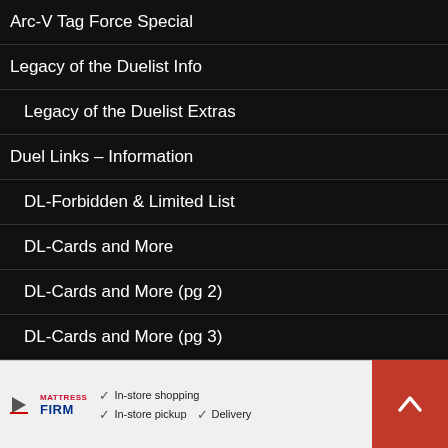Arc-V Tag Force Special
Legacy of the Duelist Info
Legacy of the Duelist Extras
Duel Links – Information
DL-Forbidden & Limited List
DL-Cards and More
DL-Cards and More (pg 2)
DL-Cards and More (pg 3)
DL-Cards and More (pg 4)
DL-Cards and More (pg 5)
DL-Cards and More (pg 6) [partial]
[Figure (infographic): Advertisement banner for Mattress Firm with checkmarks for In-store shopping, In-store pickup, and Delivery. Includes a map navigation icon and a red scroll-to-top button with an upward arrow.]